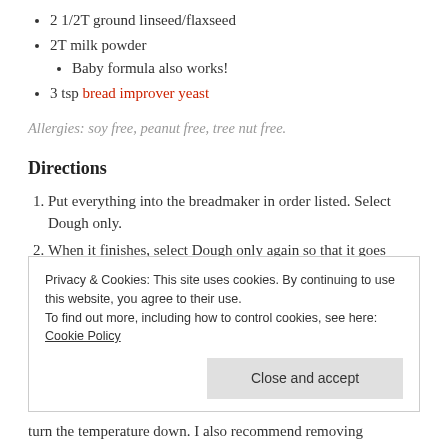2 1/2T ground linseed/flaxseed
2T milk powder
Baby formula also works!
3 tsp bread improver yeast
Allergies: soy free, peanut free, tree nut free.
Directions
Put everything into the breadmaker in order listed. Select Dough only.
When it finishes, select Dough only again so that it goes through another knockdown/rising cycle.
Privacy & Cookies: This site uses cookies. By continuing to use this website, you agree to their use. To find out more, including how to control cookies, see here: Cookie Policy
turn the temperature down. I also recommend removing